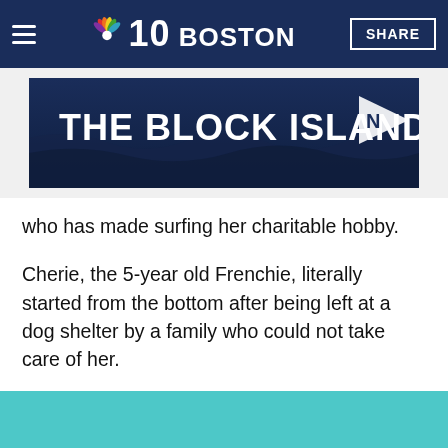NBC 10 Boston — SHARE
[Figure (photo): The Block Island Ferry advertisement banner with dark blue background, text and pennant logo]
who has made surfing her charitable hobby.
Cherie, the 5-year old Frenchie, literally started from the bottom after being left at a dog shelter by a family who could not take care of her.
Cherie was placed into the French Bulldog Rescue Network at a very young age. That's where she was rescued by a Newport Beach couple with great love for Frenchies.
[Figure (photo): Teal/cyan colored image at the bottom of the page, partially visible]